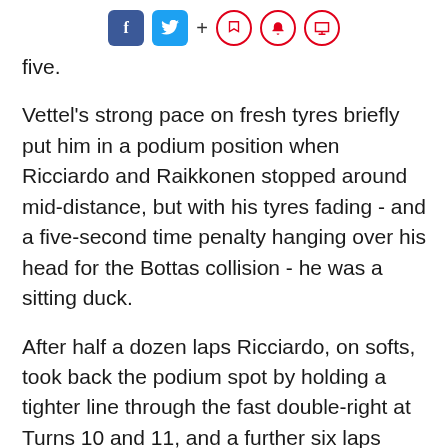Social sharing icons: Facebook, Twitter, +, bookmark, bell, comment
five.
Vettel's strong pace on fresh tyres briefly put him in a podium position when Ricciardo and Raikkonen stopped around mid-distance, but with his tyres fading - and a five-second time penalty hanging over his head for the Bottas collision - he was a sitting duck.
After half a dozen laps Ricciardo, on softs, took back the podium spot by holding a tighter line through the fast double-right at Turns 10 and 11, and a further six laps later Raikkonen used fresh supersofts to clear his team-mate for fourth.
[Figure (other): Gray advertisement placeholder rectangle at bottom of page]